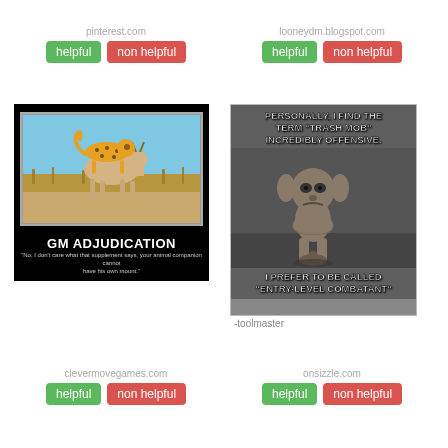pinterest.com
helpful | non helpful
looneydm.blogspot.com
helpful | non helpful
[Figure (illustration): GM Adjudication motivational poster meme: cheetah riding an antelope, black background, text reads 'GM ADJUDICATION' and quote about animal companion mount]
[Figure (illustration): Trash mob meme: goblin-like creature, text reads 'PERSONALLY, I FIND THE TERM TRASH MOB INCREDIBLY OFFENSIVE. I PREFER TO BE CALLED ENTRY-LEVEL COMBATANT']
-toolmaster
clevermovegames.com
helpful | non helpful
onsizzle.com
helpful | non helpful